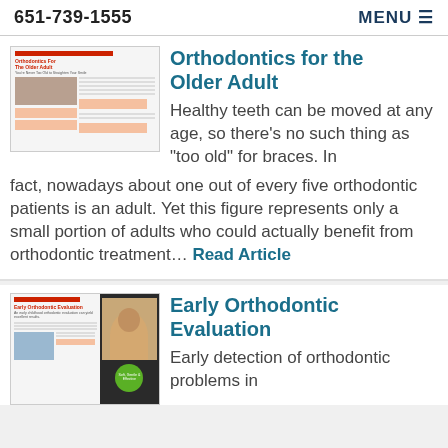651-739-1555  MENU
[Figure (photo): Thumbnail image of an article page titled 'Orthodontics For The Older Adult' with text and photos of an older couple]
Orthodontics for the Older Adult
Healthy teeth can be moved at any age, so there’s no such thing as “too old” for braces. In fact, nowadays about one out of every five orthodontic patients is an adult. Yet this figure represents only a small portion of adults who could actually benefit from orthodontic treatment… Read Article
[Figure (photo): Thumbnail image of an article page titled 'Early Orthodontic Evaluation' with photos of a child at the dentist and a smiling woman]
Early Orthodontic Evaluation
Early detection of orthodontic problems in